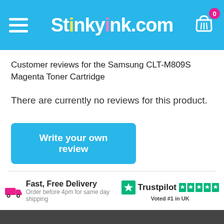Stinkyink.com
Customer reviews for the Samsung CLT-M809S Magenta Toner Cartridge
There are currently no reviews for this product.
Write your own review
Fast, Free Delivery - Order before 4pm for same day shipping | Trustpilot - Voted #1 in UK